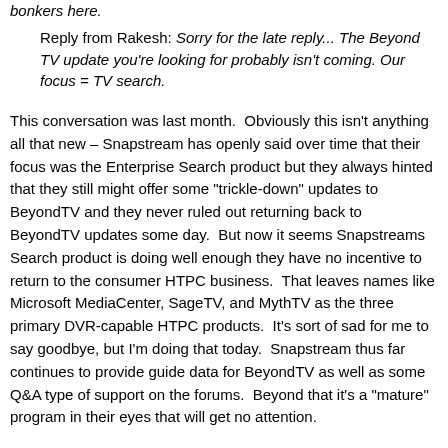bonkers here.

Reply from Rakesh: Sorry for the late reply... The Beyond TV update you're looking for probably isn't coming. Our focus = TV search.
This conversation was last month.  Obviously this isn't anything all that new – Snapstream has openly said over time that their focus was the Enterprise Search product but they always hinted that they still might offer some "trickle-down" updates to BeyondTV and they never ruled out returning back to BeyondTV updates some day.  But now it seems Snapstreams Search product is doing well enough they have no incentive to return to the consumer HTPC business.  That leaves names like Microsoft MediaCenter, SageTV, and MythTV as the three primary DVR-capable HTPC products.  It's sort of sad for me to say goodbye, but I'm doing that today.  Snapstream thus far continues to provide guide data for BeyondTV as well as some Q&A type of support on the forums.  Beyond that it's a "mature" program in their eyes that will get no attention.
Good luck to Snapstream as they continue to thrive with the